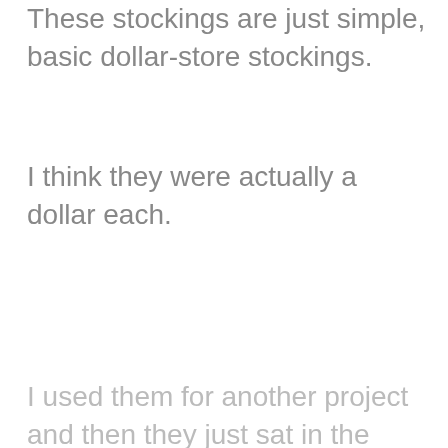These stockings are just simple, basic dollar-store stockings.
I think they were actually a dollar each.
I used them for another project and then they just sat in the Christmas tubs.